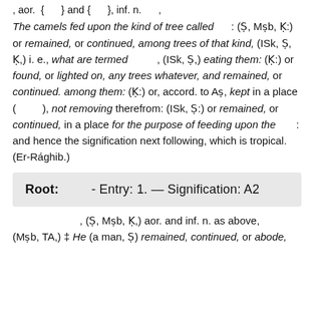, aor. { } and { }, inf. n. ,
The camels fed upon the kind of tree called : (Ṣ, Mṣb, Ḳ:) or remained, or continued, among trees of that kind, (ISk, Ṣ, Ḳ,) i. e., what are termed , (ISk, Ṣ,) eating them: (Ḳ:) or found, or lighted on, any trees whatever, and remained, or continued. among them: (Ḳ:) or, accord. to Aṣ, kept in a place ( ), not removing therefrom: (ISk, Ṣ:) or remained, or continued, in a place for the purpose of feeding upon the : and hence the signification next following, which is tropical. (Er-Rághib.)
Root: - Entry: 1. — Signification: A2
, (Ṣ, Mṣb, Ḳ,) aor. and inf. n. as above, (Mṣb, TA,) ‡ He (a man, Ṣ) remained, continued, or abode,